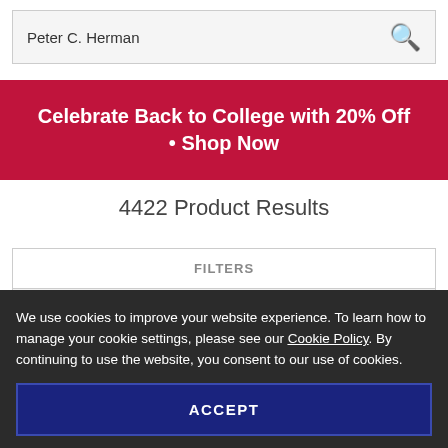Peter C. Herman
Celebrate Back to College with 20% Off • Shop Now
4422 Product Results
| FILTERS |
| --- |
| KEYWORDS |
| PUB DATE |
We use cookies to improve your website experience. To learn how to manage your cookie settings, please see our Cookie Policy. By continuing to use the website, you consent to our use of cookies.
ACCEPT